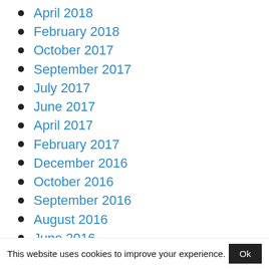April 2018
February 2018
October 2017
September 2017
July 2017
June 2017
April 2017
February 2017
December 2016
October 2016
September 2016
August 2016
June 2016
May 2016
This website uses cookies to improve your experience.